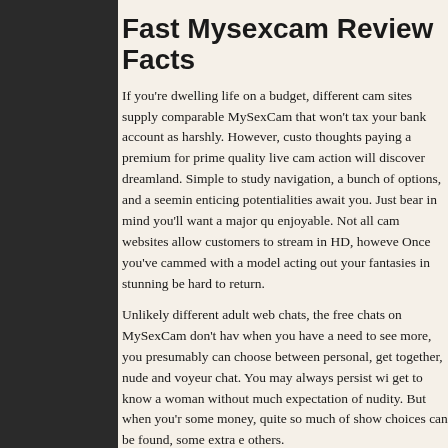Fast Mysexcam Review Facts
If you're dwelling life on a budget, different cam sites supply comparable MySexCam that won't tax your bank account as harshly. However, customers thoughts paying a premium for prime quality live cam action will discover dreamland. Simple to study navigation, a bunch of options, and a seemingly enticing potentialities await you. Just bear in mind you'll want a major quality enjoyable. Not all cam websites allow customers to stream in HD, however. Once you've cammed with a model acting out your fantasies in stunning be hard to return.
Unlikely different adult web chats, the free chats on MySexCam don't have when you have a need to see more, you presumably can choose between personal, get together, nude and voyeur chat. You may always persist with get to know a woman without much expectation of nudity. But when you're some money, quite so much of show choices can be found, some extra e others.
Also I offer you all the small print concerning the Amateur category. The S permits members to enjoy personal shows without interruption. By taking the members account balance is routinely topped up when it my sex cam credit. By default a member will get a bundle of 27.ninety nine, however the choice to alter the SmartBuy purchase amount. Since the principle site c is Premium, you have an Open chat area.
A member who chooses to make use of their options agree to their terms